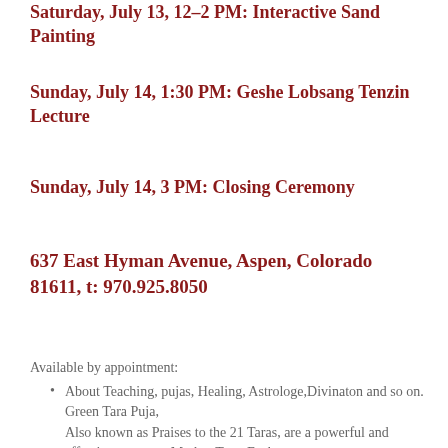Saturday, July 13, 12–2 PM: Interactive Sand Painting
Sunday, July 14, 1:30 PM: Geshe Lobsang Tenzin Lecture
Sunday, July 14, 3 PM: Closing Ceremony
637 East Hyman Avenue, Aspen, Colorado 81611, t: 970.925.8050
Available by appointment:
About Teaching, pujas, Healing, Astrologe,Divinaton and so on.
Green Tara Puja,
Also known as Praises to the 21 Taras, are a powerful and effective prayer to Mother Tara. Each one of the twenty-one Taras represents a different aspect of the wisdom energy of mother Tara.
Tara is a female Buddha, a manifestation of the ultimate